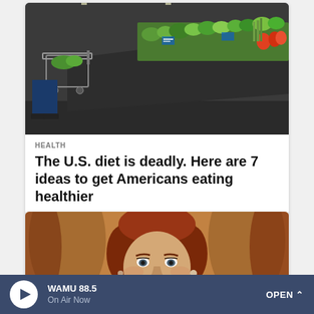[Figure (photo): Person pushing a shopping cart in a grocery store produce section with vegetables and fruits on display shelves]
HEALTH
The U.S. diet is deadly. Here are 7 ideas to get Americans eating healthier
[Figure (photo): Close-up portrait of a woman with red hair, wearing earrings, against an orange/brown background with decorative elements]
WAMU 88.5 On Air Now OPEN ^